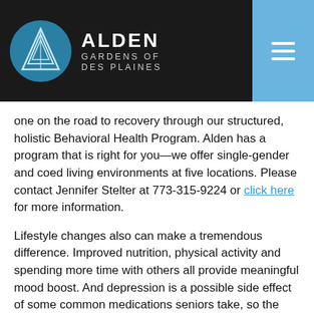ALDEN GARDENS OF DES PLAINES
one on the road to recovery through our structured, holistic Behavioral Health Program. Alden has a program that is right for you—we offer single-gender and coed living environments at five locations. Please contact Jennifer Stelter at 773-315-9224 or click here for more information.
Lifestyle changes also can make a tremendous difference. Improved nutrition, physical activity and spending more time with others all provide meaningful mood boost. And depression is a possible side effect of some common medications seniors take, so the doctor or pharmacist should review all prescription and nonprescription drugs a depressed person takes.